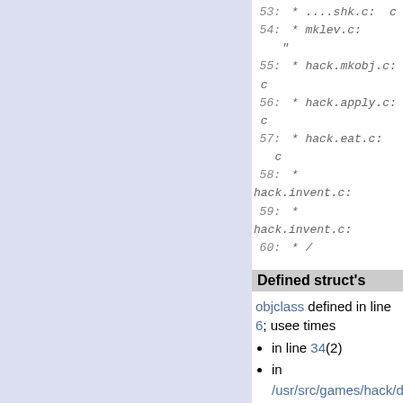53:  * ....shk.c:  ch
54:  * mklev.c:
55:  * hack.mkobj.c:  ch
56:  * hack.apply.c:
57:  * hack.eat.c:
58:  * hack.invent.c:
59:  * hack.invent.c:
60:  */
Defined struct's
objclass defined in line 6; used ... times
in line 34(2)
in /usr/src/games/hack/def... line 9(2)
in /usr/src/games/hack/hac... line 91(2)
in /usr/src/games/hack/hac... line 36(2)
Defined macros
AMULET_SYM defined in li...